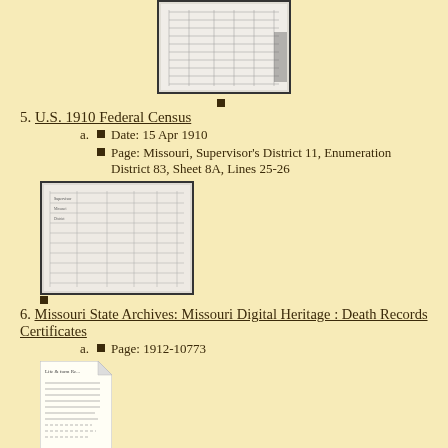[Figure (photo): Thumbnail of a census document page showing rows and columns of handwritten data, bordered in black]
5. U.S. 1910 Federal Census
a. Date: 15 Apr 1910
a. Page: Missouri, Supervisor's District 11, Enumeration District 83, Sheet 8A, Lines 25-26
[Figure (photo): Thumbnail of a 1910 federal census page showing tabular handwritten entries, bordered in black]
6. Missouri State Archives: Missouri Digital Heritage : Death Records Certificates
a. Page: 1912-10773
[Figure (photo): Thumbnail of a death record certificate document with text lines visible, dog-eared top-right corner]
Home
For contributions of information or corrections write: e.mail box